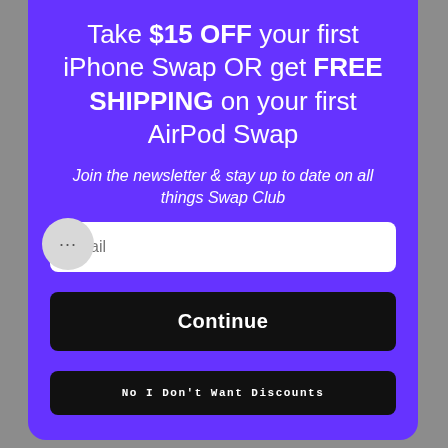Take $15 OFF your first iPhone Swap OR get FREE SHIPPING on your first AirPod Swap
Join the newsletter & stay up to date on all things Swap Club
Email
Continue
No I Don't Want Discounts